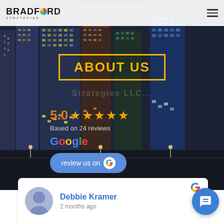Bradford Strategies
ABOUT US
5.0 ★★★★★ Based on 24 reviews Google
review us on Google
Debbie Kramer
2 months ago